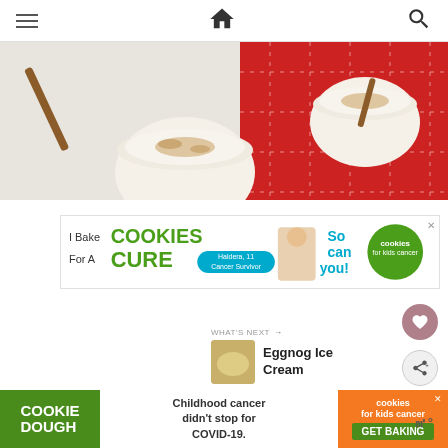Navigation bar with hamburger menu, home icon, and search icon
[Figure (photo): Overhead view of two glasses of eggnog or creamy drink topped with cinnamon and nutmeg on a white surface with a red plaid cloth]
[Figure (infographic): Advertisement banner: 'I Bake COOKIES For A CURE - Haldera, 11 Cancer Survivor - So can you! cookies for kids cancer']
[Figure (infographic): Heart/favorite button (pink circle with heart icon)]
[Figure (infographic): Share button (gray circle with share icon)]
WHAT'S NEXT → Eggnog Ice Cream
[Figure (infographic): Bottom advertisement: COOKIE DOUGH / Childhood cancer didn't stop for COVID-19. / cookies for kids cancer / GET BAKING]